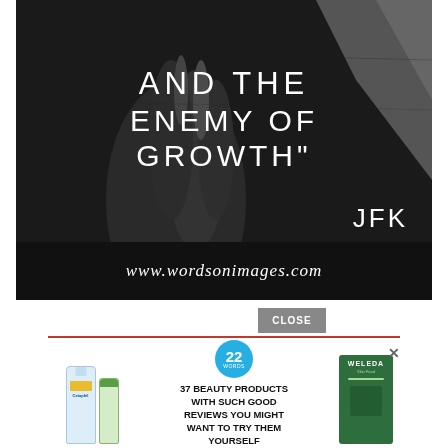[Figure (illustration): Black and white photo of a hand with overlaid white text quote: 'FREEDOM AND THE ENEMY OF GROWTH' attributed to JFK, with www.wordsonimages.com watermark at the bottom]
[Figure (infographic): Advertisement banner: '37 BEAUTY PRODUCTS WITH SUCH GOOD REVIEWS YOU MIGHT WANT TO TRY THEM YOURSELF' with product images (Cetaphil, Weleda) and a '22 WORDS' badge. Has a CLOSE button and an X dismiss button.]